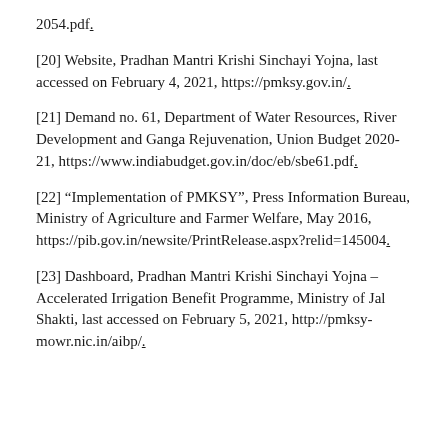2054.pdf.
[20] Website, Pradhan Mantri Krishi Sinchayi Yojna, last accessed on February 4, 2021, https://pmksy.gov.in/.
[21] Demand no. 61, Department of Water Resources, River Development and Ganga Rejuvenation, Union Budget 2020-21, https://www.indiabudget.gov.in/doc/eb/sbe61.pdf.
[22] “Implementation of PMKSY”, Press Information Bureau, Ministry of Agriculture and Farmer Welfare, May 2016, https://pib.gov.in/newsite/PrintRelease.aspx?relid=145004.
[23] Dashboard, Pradhan Mantri Krishi Sinchayi Yojna – Accelerated Irrigation Benefit Programme, Ministry of Jal Shakti, last accessed on February 5, 2021, http://pmksy-mowr.nic.in/aibp/.